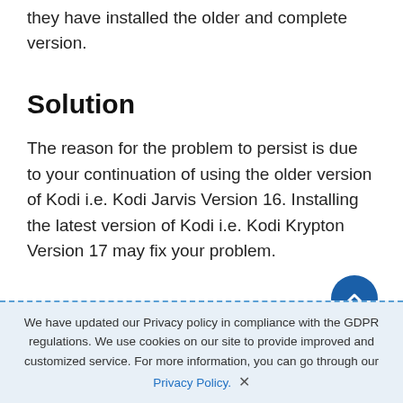they have installed the older and complete version.
Solution
The reason for the problem to persist is due to your continuation of using the older version of Kodi i.e. Kodi Jarvis Version 16. Installing the latest version of Kodi i.e. Kodi Krypton Version 17 may fix your problem.
We have updated our Privacy policy in compliance with the GDPR regulations. We use cookies on our site to provide improved and customized service. For more information, you can go through our Privacy Policy. ×